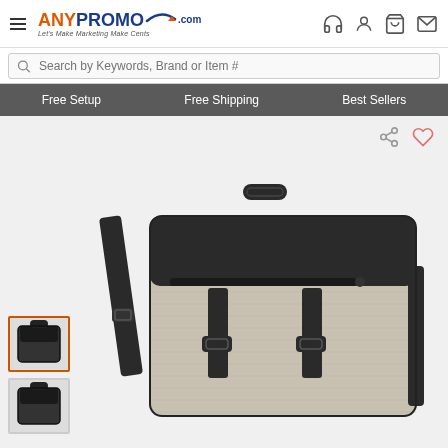[Figure (logo): AnyPromo.com logo with hamburger menu, orange and blue text, tagline 'Let's Make Marketing Make Cents']
Search by Keywords, Brand or Item #
Free Setup   Free Shipping   Best Sellers
[Figure (photo): Gray heathered messenger/laptop bag with black trim, buckle straps, shoulder strap, and top handle. Main product photo on light gray background.]
[Figure (photo): Thumbnail 1 (selected, orange border): same bag front view]
[Figure (photo): Thumbnail 2: same bag alternate view]